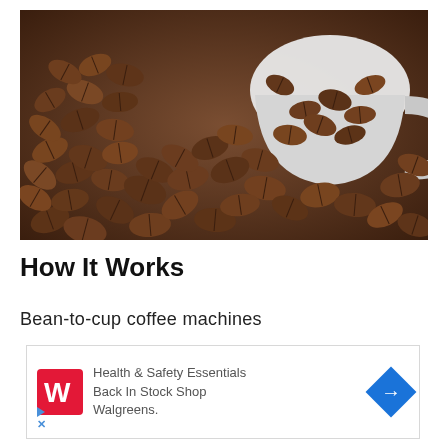[Figure (photo): Coffee beans spilling out of a white ceramic mug onto a surface covered with coffee beans, close-up shot with shallow depth of field.]
How It Works
Bean-to-cup coffee machines
[Figure (infographic): Advertisement box with Walgreens logo (red W on red background), text reading 'Health & Safety Essentials Back In Stock Shop Walgreens.' with a blue diamond arrow icon on the right. Small triangle play button and X button in bottom left for ad controls.]